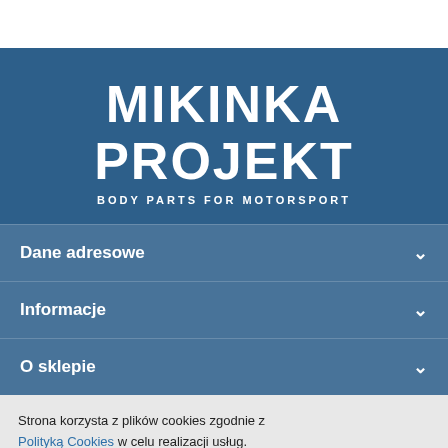[Figure (logo): Mikinka Projekt logo — white bold text on blue background, subtitle: BODY PARTS FOR MOTORSPORT]
Dane adresowe
Informacje
O sklepie
Strona korzysta z plików cookies zgodnie z Polityką Cookies w celu realizacji usług. Korzystanie z witryny oznacza, że będą one umieszczane w Twoim urządzeniu końcowym. Możesz określić warunki przechowywania lub dostępu do plików cookies w Twojej przeglądarce.